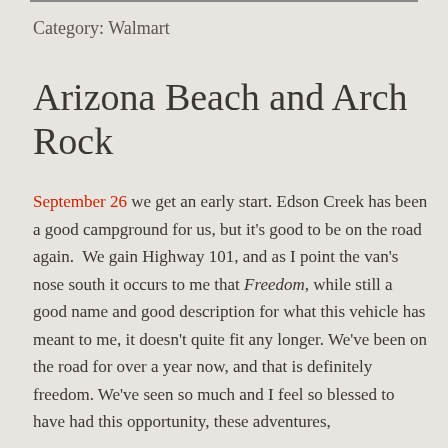Category: Walmart
Arizona Beach and Arch Rock
September 26 we get an early start. Edson Creek has been a good campground for us, but it's good to be on the road again.  We gain Highway 101, and as I point the van's nose south it occurs to me that Freedom, while still a good name and good description for what this vehicle has meant to me, it doesn't quite fit any longer. We've been on the road for over a year now, and that is definitely freedom. We've seen so much and I feel so blessed to have had this opportunity, these adventures,